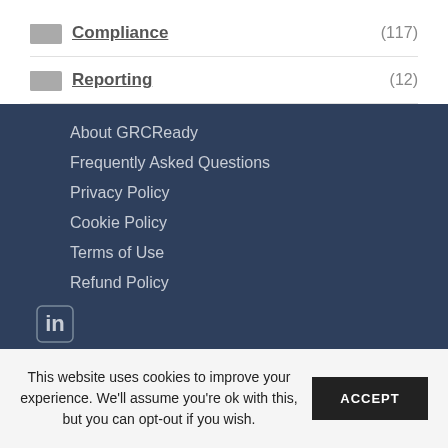Compliance (117)
Reporting (12)
About GRCReady
Frequently Asked Questions
Privacy Policy
Cookie Policy
Terms of Use
Refund Policy
[Figure (illustration): LinkedIn, Facebook, and YouTube social media icons]
This website uses cookies to improve your experience. We'll assume you're ok with this, but you can opt-out if you wish. ACCEPT